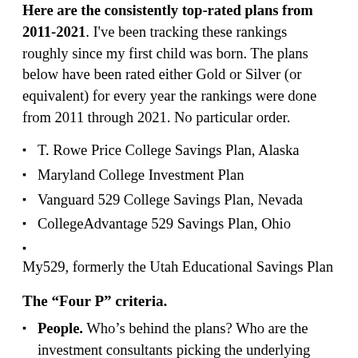Here are the consistently top-rated plans from 2011-2021. I've been tracking these rankings roughly since my first child was born. The plans below have been rated either Gold or Silver (or equivalent) for every year the rankings were done from 2011 through 2021. No particular order.
T. Rowe Price College Savings Plan, Alaska
Maryland College Investment Plan
Vanguard 529 College Savings Plan, Nevada
CollegeAdvantage 529 Savings Plan, Ohio
My529, formerly the Utah Educational Savings Plan
The “Four P” criteria.
People. Who’s behind the plans? Who are the investment consultants picking the underlying investments?